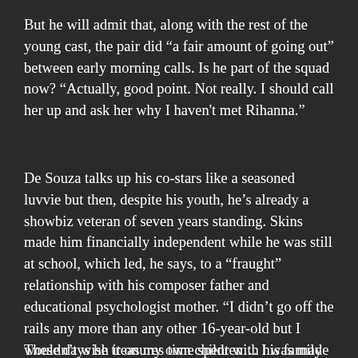But he will admit that, along with the rest of the young cast, the pair did "a fair amount of going out" between early morning calls. Is he part of the squad now? "Actually, good point. Not really. I should call her up and ask her why I haven't met Rihanna."
De Souza talks up his co-stars like a seasoned luvvie but then, despite his youth, he's already a showbiz veteran of seven years standing. Skins made him financially independent while he was still at school, which led, he says, to a “fraught” relationship with his composer father and educational psychologist mother. “I didn't go off the rails any more than any other 16-year-old but I wouldn't wish it on my own children… I was made to feel like an adult a little bit too early, y'know?"
These days he treasures time spent with his family and is